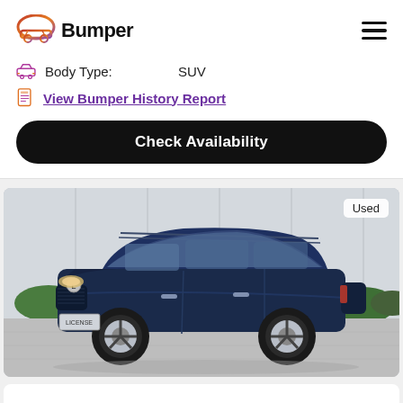Bumper
Body Type: SUV
View Bumper History Report
Check Availability
[Figure (photo): Blue Lexus RX SUV, used, parked outdoors in front of a building with green shrubs. 'Used' badge in top right corner.]